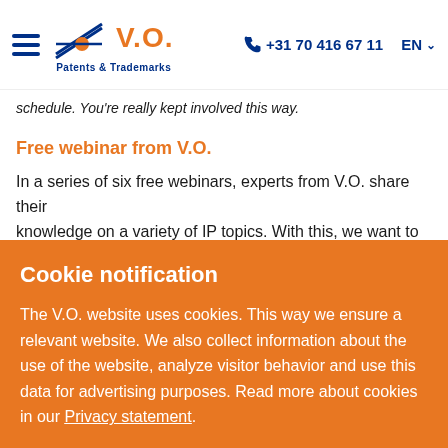V.O. Patents & Trademarks | +31 70 416 67 11 | EN
schedule. You're really kept involved this way.
Free webinar from V.O.
In a series of six free webinars, experts from V.O. share their knowledge on a variety of IP topics. With this, we want to inspire
Cookie notification
The V.O. website uses cookies. This way we ensure a relevant website. We also collect information about the use of the website, analyze visitor behavior and use this data for advertising purposes. Read more about cookies in our Privacy statement.
Accept all cookies | Only basic cookies